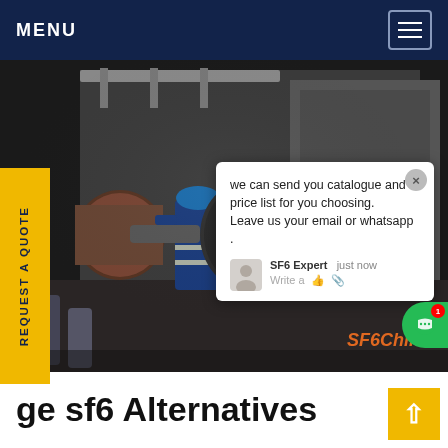MENU
[Figure (photo): Industrial scene showing a worker in blue overalls and hard hat inspecting heavy electrical or SF6 gas equipment in a dark industrial facility. Large cylindrical components and piping visible.]
REQUEST A QUOTE
we can send you catalogue and price list for you choosing. Leave us your email or whatsapp .
SF6 Expert   just now
Write a
SF6China
ge sf6 Alternatives